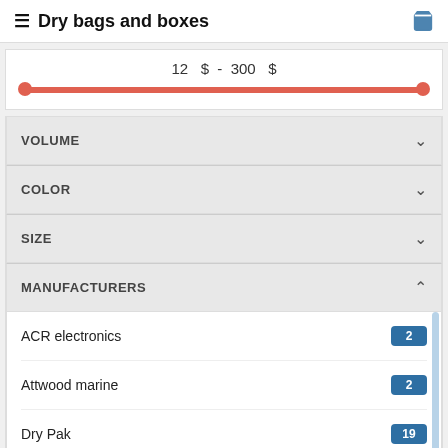Dry bags and boxes
[Figure (infographic): Price range slider showing 12 $ - 300 $ with a red/orange horizontal slider bar spanning full width]
VOLUME
COLOR
SIZE
MANUFACTURERS
ACR electronics 2
Attwood marine 2
Dry Pak 19
Mustang Survival 13
Reset All